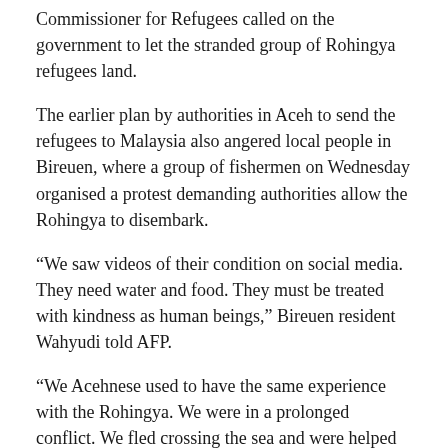Commissioner for Refugees called on the government to let the stranded group of Rohingya refugees land.
The earlier plan by authorities in Aceh to send the refugees to Malaysia also angered local people in Bireuen, where a group of fishermen on Wednesday organised a protest demanding authorities allow the Rohingya to disembark.
“We saw videos of their condition on social media. They need water and food. They must be treated with kindness as human beings,” Bireuen resident Wahyudi told AFP.
“We Acehnese used to have the same experience with the Rohingya. We were in a prolonged conflict. We fled crossing the sea and were helped by people from various countries such as Malaysia, Australia.”